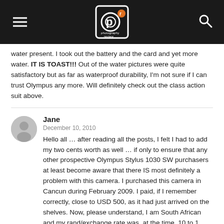Photography Review
water present. I took out the battery and the card and yet more water. IT IS TOAST!!! Out of the water pictures were quite satisfactory but as far as waterproof durability, I'm not sure if I can trust Olympus any more. Will definitely check out the class action suit above.
Jane
December 10, 2010
Hello all … after reading all the posts, I felt I had to add my two cents worth as well … if only to ensure that any other prospective Olympus Stylus 1030 SW purchasers at least become aware that there IS most definitely a problem with this camera. I purchased this camera in Cancun during February 2009. I paid, if I remember correctly, close to USD 500, as it had just arrived on the shelves. Now, please understand, I am South African and my rand/exchange rate was, at the time, 10 to 1, thus THIS particular camera cost me a small